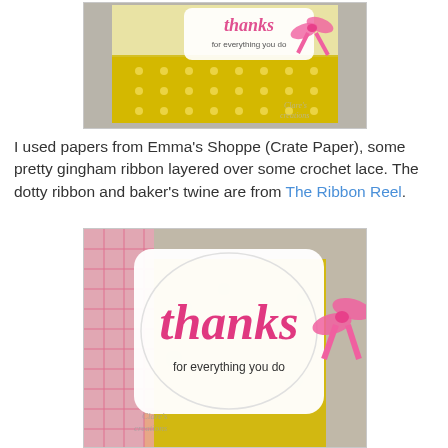[Figure (photo): Close-up photo of a handmade thank you card with yellow polka dot and floral patterned paper, white scalloped label reading 'thanks for everything you do', and a pink bow ribbon.]
I used papers from Emma's Shoppe (Crate Paper), some pretty gingham ribbon layered over some crochet lace. The dotty ribbon and baker's twine are from The Ribbon Reel.
[Figure (photo): Close-up macro photo of a handmade card's label tag in white with ornate edges, featuring the word 'thanks' in large pink script and 'for everything you do' in smaller black text beneath, with a pink grosgrain bow on the right, and pink gingham and yellow floral patterned papers visible in the background.]